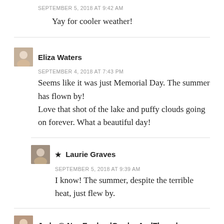SEPTEMBER 5, 2018 AT 9:42 AM
Yay for cooler weather!
Eliza Waters
SEPTEMBER 4, 2018 AT 7:43 PM
Seems like it was just Memorial Day. The summer has flown by!
Love that shot of the lake and puffy clouds going on forever. What a beautiful day!
★ Laurie Graves
SEPTEMBER 5, 2018 AT 9:39 AM
I know! The summer, despite the terrible heat, just flew by.
Judy @ NewEnglandGardenAndThread